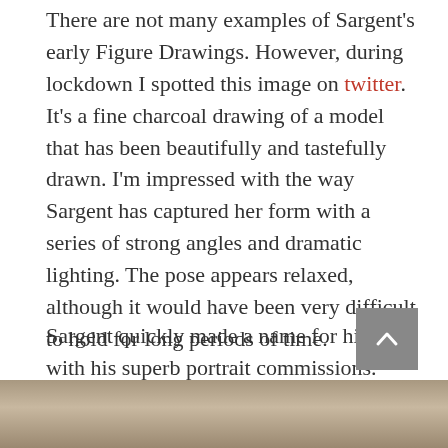There are not many examples of Sargent's early Figure Drawings. However, during lockdown I spotted this image on twitter. It's a fine charcoal drawing of a model that has been beautifully and tastefully drawn. I'm impressed with the way Sargent has captured her form with a series of strong angles and dramatic lighting. The pose appears relaxed, although it would have been very difficult to hold for long periods of time.
Sargent quickly made a name for himself with his superb portrait commissions. Over time, his drawing became much more fluid, expressive and even more confident. A quick search on the internet will reveal many of his later Life Drawing studies which are lively and refreshing.
[Figure (photo): Partial view of a charcoal figure drawing, appearing at the bottom of the page]